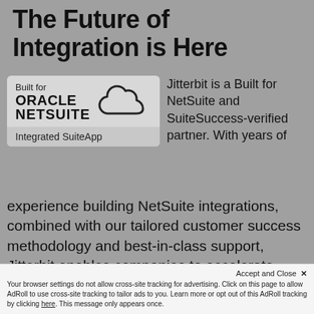The Future of Integration is Here
[Figure (logo): Built for Oracle NetSuite Integrated SuiteApp badge with cloud icon]
Jitterbit is a Built for NetSuite and SuiteSuccess-verified partner. With years of experience building NetSuite integrations, combined with our tailored customer success methodology and best-in-class support, Jitterbit enables companies to accelerate business outcomes with integration initiatives going live in days or weeks, not months.
Accept and Close X
Your browser settings do not allow cross-site tracking for advertising. Click on this page to allow AdRoll to use cross-site tracking to tailor ads to you. Learn more or opt out of this AdRoll tracking by clicking here. This message only appears once.